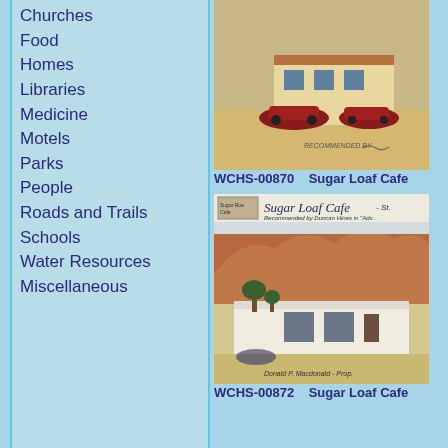Churches
Food
Homes
Libraries
Medicine
Motels
Parks
People
Roads and Trails
Schools
Water Resources
Miscellaneous
[Figure (photo): Vintage postcard photo of Sugar Loaf Cafe with red cars parked outside, top image]
WCHS-00870    Sugar Loaf Cafe
[Figure (photo): Vintage postcard photo of Sugar Loaf Cafe showing white adobe building with rocky hillside backdrop, text reads Sugar Loaf Cafe - Recommended by Duncan Hines in Adv... Donald P. Macdonald - Prop.]
WCHS-00872    Sugar Loaf Cafe